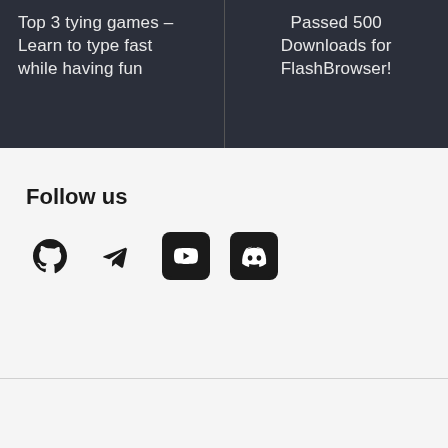Top 3 tying games – Learn to type fast while having fun
Passed 500 Downloads for FlashBrowser!
Follow us
[Figure (illustration): Social media icons: GitHub, Telegram, YouTube, Discord]